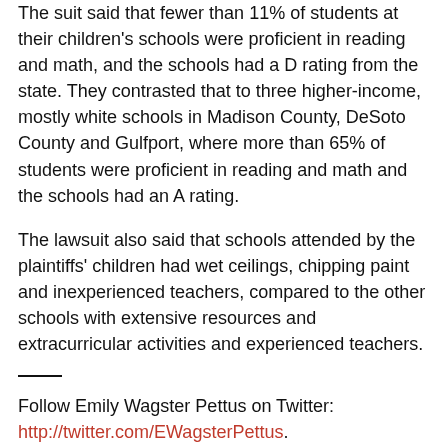The suit said that fewer than 11% of students at their children's schools were proficient in reading and math, and the schools had a D rating from the state. They contrasted that to three higher-income, mostly white schools in Madison County, DeSoto County and Gulfport, where more than 65% of students were proficient in reading and math and the schools had an A rating.
The lawsuit also said that schools attended by the plaintiffs' children had wet ceilings, chipping paint and inexperienced teachers, compared to the other schools with extensive resources and extracurricular activities and experienced teachers.
Follow Emily Wagster Pettus on Twitter: http://twitter.com/EWagsterPettus.